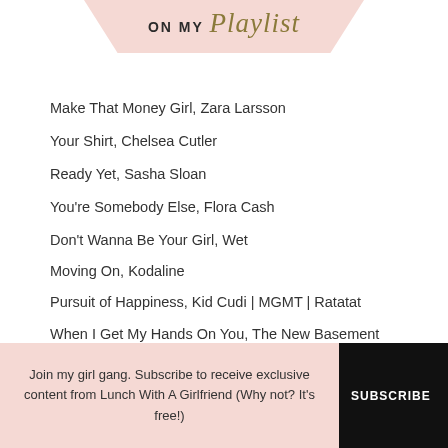ON MY Playlist
Make That Money Girl, Zara Larsson
Your Shirt, Chelsea Cutler
Ready Yet, Sasha Sloan
You're Somebody Else, Flora Cash
Don't Wanna Be Your Girl, Wet
Moving On, Kodaline
Pursuit of Happiness, Kid Cudi | MGMT | Ratatat
When I Get My Hands On You, The New Basement Tapes
Join my girl gang. Subscribe to receive exclusive content from Lunch With A Girlfriend (Why not? It's free!)